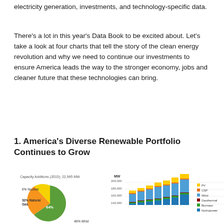electricity generation, investments, and technology-specific data.
There's a lot in this year's Data Book to be excited about. Let's take a look at four charts that tell the story of the clean energy revolution and why we need to continue our investments to ensure America leads the way to the stronger economy, jobs and cleaner future that these technologies can bring.
1. America's Diverse Renewable Portfolio Continues to Grow
[Figure (pie-chart): Pie chart showing capacity additions in 2015. Segments: 30% Natural Gas, 6% Nuclear, 64% (solar/other, unlabeled center), 46% Wind (partial label visible at bottom). Legend and bar chart visible to the right showing MW from 120,000 to 200,000 with stacked bars for PV, CSP, Wind, Geothermal, Biomass, Hydropower.]
MW
200,000
180,000
160,000
140,000
PV
CSP
Wind
Geothermal
Biomass
Hydropower